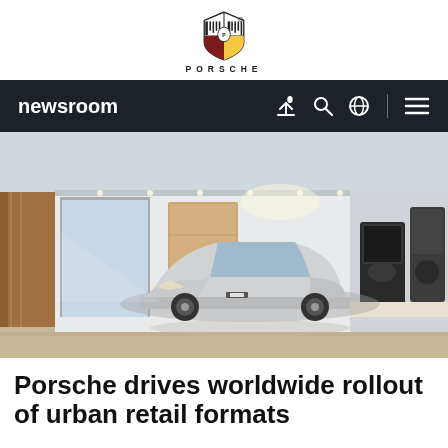[Figure (logo): Porsche crest logo with wordmark PORSCHE below]
newsroom
[Figure (photo): Interior of a Porsche showroom/studio with a silver Porsche Taycan Cross Turismo on display, espresso coffee machine on the right, warm lighting and modern interior design]
Porsche drives worldwide rollout of urban retail formats